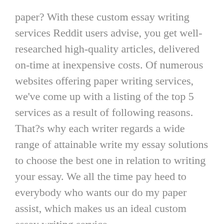paper? With these custom essay writing services Reddit users advise, you get well-researched high-quality articles, delivered on-time at inexpensive costs. Of numerous websites offering paper writing services, we've come up with a listing of the top 5 services as a result of following reasons. That?s why each writer regards a wide range of attainable write my essay solutions to choose the best one in relation to writing your essay. We all the time pay heed to everybody who wants our do my paper assist, which makes us an ideal custom essay writing service.
Our essay helpers do their greatest to complete your task on time and are always punctual! Each skilled on EssayHub on-line essay writing service will help you complete your assignment regardless of subject, complexity, and urgency. When deciding on the completion time for your task,